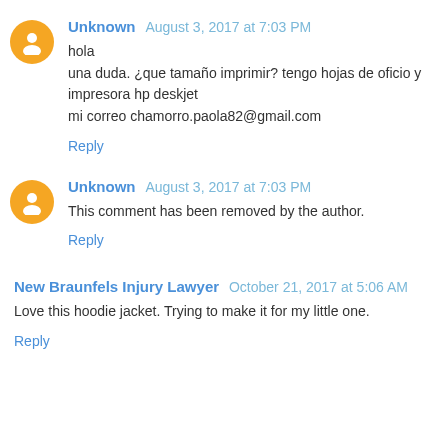Unknown  August 3, 2017 at 7:03 PM
hola
una duda. ¿que tamaño imprimir? tengo hojas de oficio y impresora hp deskjet
mi correo chamorro.paola82@gmail.com
Reply
Unknown  August 3, 2017 at 7:03 PM
This comment has been removed by the author.
Reply
New Braunfels Injury Lawyer  October 21, 2017 at 5:06 AM
Love this hoodie jacket. Trying to make it for my little one.
Reply